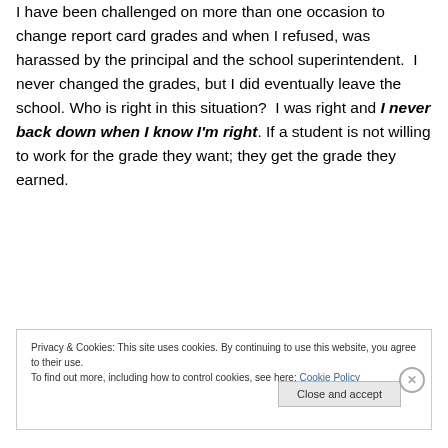I have been challenged on more than one occasion to change report card grades and when I refused, was harassed by the principal and the school superintendent.  I never changed the grades, but I did eventually leave the school. Who is right in this situation?  I was right and I never back down when I know I'm right. If a student is not willing to work for the grade they want; they get the grade they earned.
Privacy & Cookies: This site uses cookies. By continuing to use this website, you agree to their use.
To find out more, including how to control cookies, see here: Cookie Policy